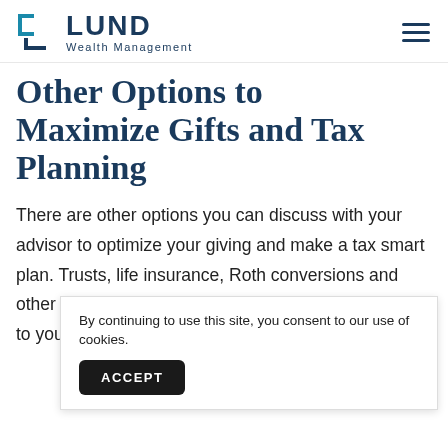LUND Wealth Management
Other Options to Maximize Gifts and Tax Planning
There are other options you can discuss with your advisor to optimize your giving and make a tax smart plan. Trusts, life insurance, Roth conversions and other strategies can help you minimize the tax burden to yourself and your beneficiaries. Your advisor can h... w...
By continuing to use this site, you consent to our use of cookies.
ACCEPT